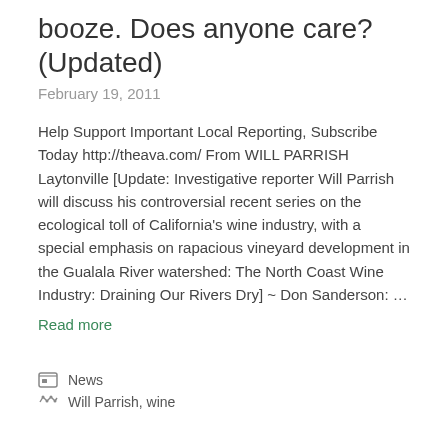booze. Does anyone care? (Updated)
February 19, 2011
Help Support Important Local Reporting, Subscribe Today http://theava.com/ From WILL PARRISH Laytonville [Update: Investigative reporter Will Parrish will discuss his controversial recent series on the ecological toll of California's wine industry, with a special emphasis on rapacious vineyard development in the Gualala River watershed: The North Coast Wine Industry: Draining Our Rivers Dry] ~ Don Sanderson: …
Read more
News
Will Parrish, wine